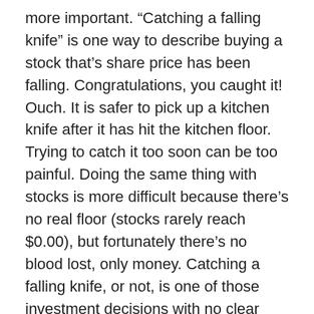more important. “Catching a falling knife” is one way to describe buying a stock that’s share price has been falling. Congratulations, you caught it! Ouch. It is safer to pick up a kitchen knife after it has hit the kitchen floor. Trying to catch it too soon can be too painful. Doing the same thing with stocks is more difficult because there’s no real floor (stocks rarely reach $0.00), but fortunately there’s no blood lost, only money. Catching a falling knife, or not, is one of those investment decisions with no clear answer. Here’s how I almost bought a stock this week but didn’t because I’m trying to decide where the floor is.
Thanks to some conservative money management, I have enough discretionary cash to round out one of my portfolio’s positions (buying enough shares to bring the total to a number that’s easier to remember and manage.) My next target was and is Solar Windows (WNDW), a